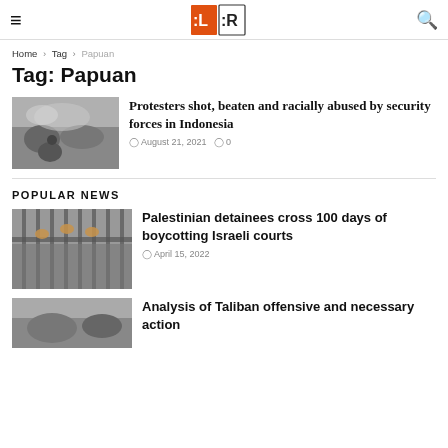Human Level Human Rights — navigation header with logo, hamburger menu, and search icon
Home > Tag > Papuan
Tag: Papuan
[Figure (photo): Crowd scene with protesters and smoke, person crouching in foreground]
Protesters shot, beaten and racially abused by security forces in Indonesia
August 21, 2021  0
POPULAR NEWS
[Figure (photo): Palestinian detainees behind bars or fence, reaching out]
Palestinian detainees cross 100 days of boycotting Israeli courts
April 15, 2022
[Figure (photo): Taliban related image, partially visible]
Analysis of Taliban offensive and necessary action